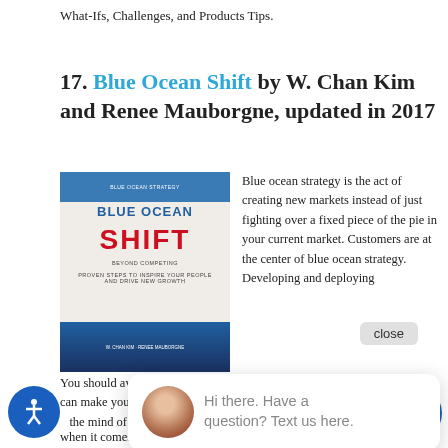What-Ifs, Challenges, and Products Tips.
17. Blue Ocean Shift by W. Chan Kim and Renee Mauborgne, updated in 2017
[Figure (photo): Book cover of Blue Ocean Shift by W. Chan Kim and Renee Mauborgne]
Blue ocean strategy is the act of creating new markets instead of just fighting over a fixed piece of the pie in your current market. Customers are at the center of blue ocean strategy. Developing and deploying cu[stomer focus...]
You should avoid[...] can make you m[...] the mind of co[...] when it comes to creating new markets.
The books on this marketing best books list are well w[orth] the money and time and will help you plan your year a[head...]